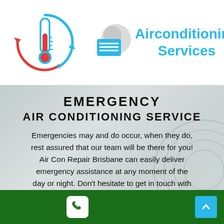[Figure (logo): Airconditioning Services logo with thermometer icon inside blue/red circular arrows and an AC unit icon]
Airconditioning Services
EMERGENCY AIR CONDITIONING SERVICE
Emergencies may and do occur, when they do, rest assured that our team will be there for you! Air Con Repair Brisbane can easily deliver emergency assistance at any moment of the day or night. Don’t hesitate to get in touch with
CALL NOW